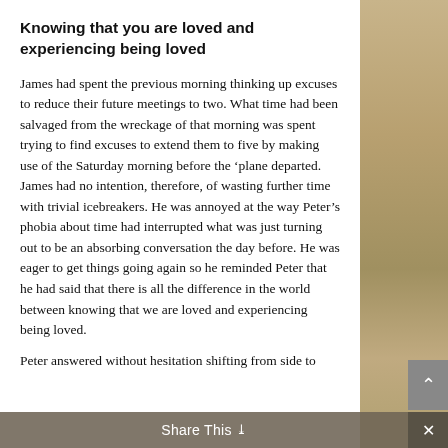Knowing that you are loved and experiencing being loved
James had spent the previous morning thinking up excuses to reduce their future meetings to two. What time had been salvaged from the wreckage of that morning was spent trying to find excuses to extend them to five by making use of the Saturday morning before the 'plane departed. James had no intention, therefore, of wasting further time with trivial icebreakers. He was annoyed at the way Peter's phobia about time had interrupted what was just turning out to be an absorbing conversation the day before. He was eager to get things going again so he reminded Peter that he had said that there is all the difference in the world between knowing that we are loved and experiencing being loved.
Peter answered without hesitation shifting from side to